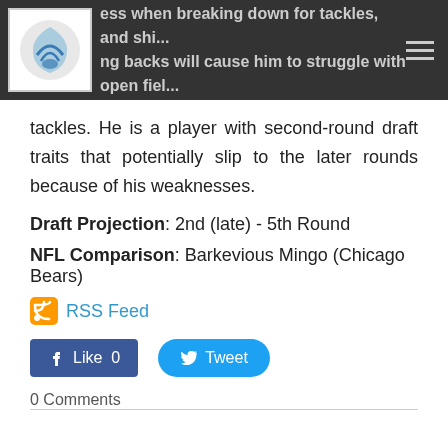ess when breaking down for tackles, and shi... ...ng backs will cause him to struggle with open fiel...
tackles. He is a player with second-round draft traits that potentially slip to the later rounds because of his weaknesses.
Draft Projection: 2nd (late) - 5th Round
NFL Comparison: Barkevious Mingo (Chicago Bears)
RSS Feed
Like 0   Tweet
0 Comments